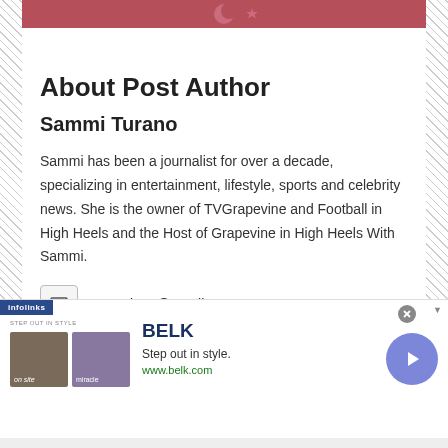[Figure (photo): Top strip showing a person wearing a maroon/burgundy top with crescent and star decorative elements]
About Post Author
Sammi Turano
Sammi has been a journalist for over a decade, specializing in entertainment, lifestyle, sports and celebrity news. She is the owner of TVGrapevine and Football in High Heels and the Host of Grapevine in High Heels With Sammi.
sammi924@gmail.com
https://www.tvgrapevine.com
[Figure (screenshot): Advertisement banner for Belk department store showing 'STEP OUT IN STYLE' with BELK logo, tagline 'Step out in style.', www.belk.com URL, thumbnail images of clothing/fashion, infolinks branding, close button, and a blue arrow navigation button]